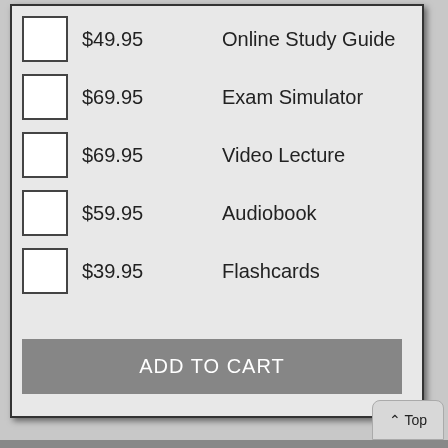$49.95  Online Study Guide
$69.95  Exam Simulator
$69.95  Video Lecture
$59.95  Audiobook
$39.95  Flashcards
ADD TO CART
^ Top